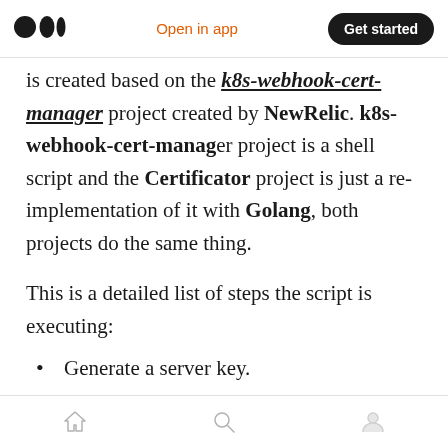Open in app | Get started
is created based on the k8s-webhook-cert-manager project created by NewRelic. k8s-webhook-cert-manager project is a shell script and the Certificator project is just a re-implementation of it with Golang, both projects do the same thing.
This is a detailed list of steps the script is executing:
Generate a server key.
If there is any previous CSR (certificate